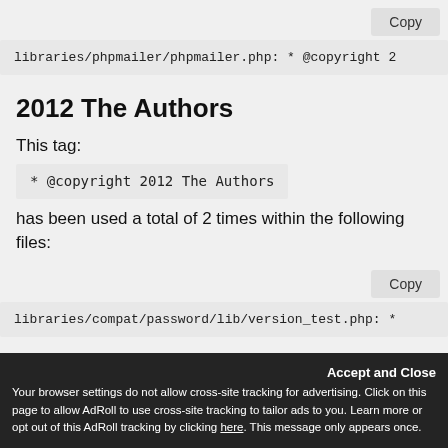Copy
libraries/phpmailer/phpmailer.php: * @copyright 2&
2012 The Authors
This tag:
* @copyright 2012 The Authors
has been used a total of 2 times within the following files:
Copy
libraries/compat/password/lib/version_test.php: *
Accept and Close
Your browser settings do not allow cross-site tracking for advertising. Click on this page to allow AdRoll to use cross-site tracking to tailor ads to you. Learn more or opt out of this AdRoll tracking by clicking here. This message only appears once.
2012 The Authors / Labs Berlin,
https://phblabs.de